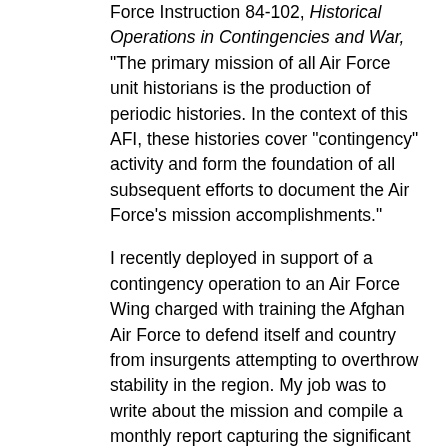Force Instruction 84-102, Historical Operations in Contingencies and War, "The primary mission of all Air Force unit historians is the production of periodic histories. In the context of this AFI, these histories cover "contingency" activity and form the foundation of all subsequent efforts to document the Air Force's mission accomplishments."
I recently deployed in support of a contingency operation to an Air Force Wing charged with training the Afghan Air Force to defend itself and country from insurgents attempting to overthrow stability in the region. My job was to write about the mission and compile a monthly report capturing the significant events for future commanders to reference.  In various deployed locales the process of acquiring documents, reports, e-mails, and other useful information can be a major challenge.  Many commanders and the people you need to talk to are extremely busy and actively participating in the mission. My assigned